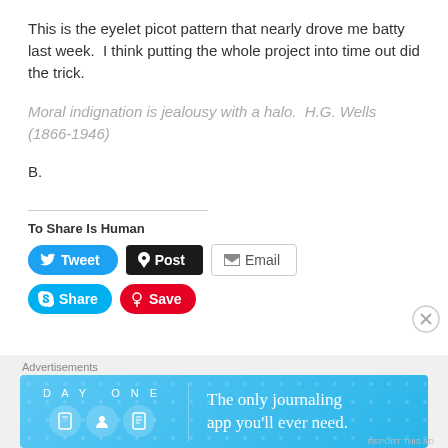This is the eyelet picot pattern that nearly drove me batty last week.  I think putting the whole project into time out did the trick.
Moral indignation is jealousy with a halo.  H.G. Wells (1866-1946)
B.
To Share Is Human
[Figure (infographic): Social share buttons: Tweet (blue, rounded), Post (black, rounded rectangle), Email (white, outlined), Share (blue rounded, Skype), Save (red rounded, Pinterest)]
Advertisements
[Figure (infographic): DAY ONE app advertisement banner. Blue gradient background with DAY ONE logo text, three icons (book, person, notepad), and text: The only journaling app you'll ever need.]